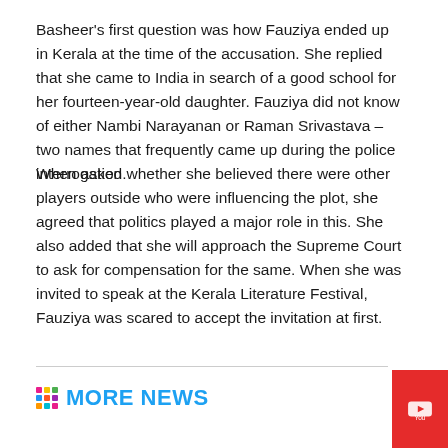Basheer's first question was how Fauziya ended up in Kerala at the time of the accusation. She replied that she came to India in search of a good school for her fourteen-year-old daughter. Fauziya did not know of either Nambi Narayanan or Raman Srivastava – two names that frequently came up during the police interrogation.
When asked whether she believed there were other players outside who were influencing the plot, she agreed that politics played a major role in this. She also added that she will approach the Supreme Court to ask for compensation for the same. When she was invited to speak at the Kerala Literature Festival, Fauziya was scared to accept the invitation at first.
[Figure (other): Social media sidebar icons: Facebook (blue), Twitter (light blue), Instagram (grey/gradient), YouTube (red)]
MORE NEWS